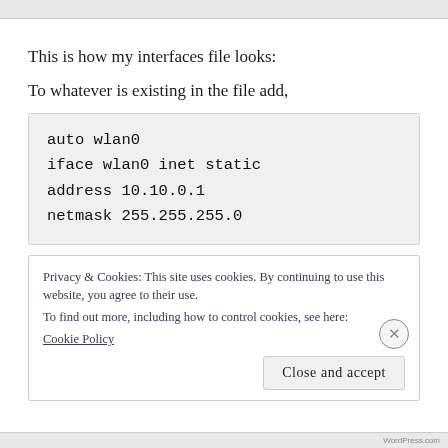This is how my interfaces file looks:
To whatever is existing in the file add,
auto wlan0
iface wlan0 inet static
address 10.10.0.1
netmask 255.255.255.0
Privacy & Cookies: This site uses cookies. By continuing to use this website, you agree to their use.
To find out more, including how to control cookies, see here:
Cookie Policy
Close and accept